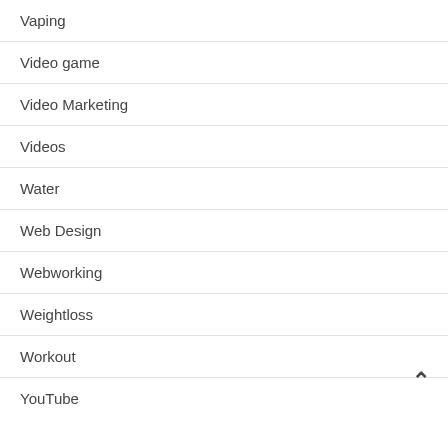Vaping
Video game
Video Marketing
Videos
Water
Web Design
Webworking
Weightloss
Workout
YouTube